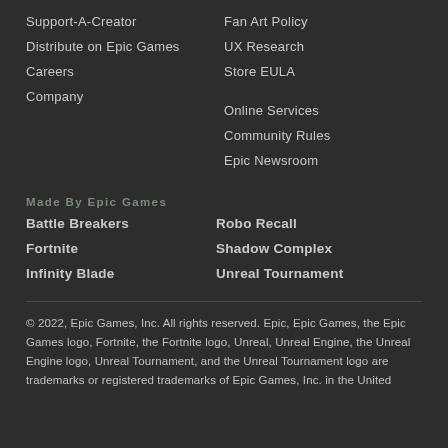Support-A-Creator
Distribute on Epic Games
Careers
Company
Fan Art Policy
UX Research
Store EULA
Online Services
Community Rules
Epic Newsroom
Made By Epic Games
Battle Breakers
Fortnite
Infinity Blade
Robo Recall
Shadow Complex
Unreal Tournament
© 2022, Epic Games, Inc. All rights reserved. Epic, Epic Games, the Epic Games logo, Fortnite, the Fortnite logo, Unreal, Unreal Engine, the Unreal Engine logo, Unreal Tournament, and the Unreal Tournament logo are trademarks or registered trademarks of Epic Games, Inc. in the United